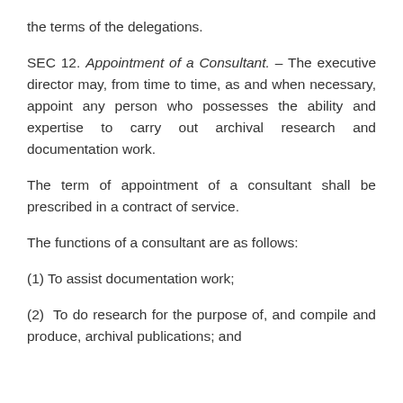the terms of the delegations.
SEC 12. Appointment of a Consultant. – The executive director may, from time to time, as and when necessary, appoint any person who possesses the ability and expertise to carry out archival research and documentation work.
The term of appointment of a consultant shall be prescribed in a contract of service.
The functions of a consultant are as follows:
(1) To assist documentation work;
(2) To do research for the purpose of, and compile and produce, archival publications; and